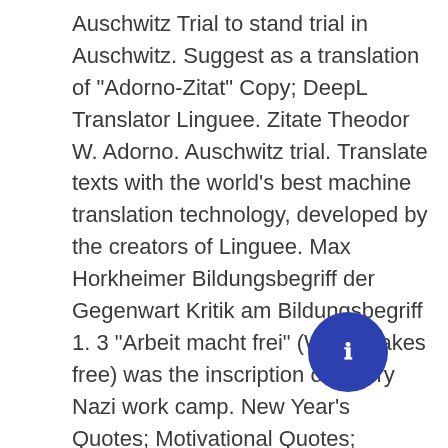Auschwitz Trial to stand trial in Auschwitz. Suggest as a translation of "Adorno-Zitat" Copy; DeepL Translator Linguee. Zitate Theodor W. Adorno. Auschwitz trial. Translate texts with the world's best machine translation technology, developed by the creators of Linguee. Max Horkheimer Bildungsbegriff der Gegenwart Kritik am Bildungsbegriff 1. 3 "Arbeit macht frei" (Work makes free) was the inscription on every Nazi work camp. New Year's Quotes; Motivational Quotes; Inspirational Quotes; Positive Quotes; Life Quotes; Funny Quotes; Wisdom Quotes; Love Quotes; More. Theodor W. Adorno (1903-1969) deutscher Musiktheoretiker, Soziologe und Philosoph. … Das tat Leth[circle]n ausgiebig im Jahr 1967, als er mit Adorno in [cut off]